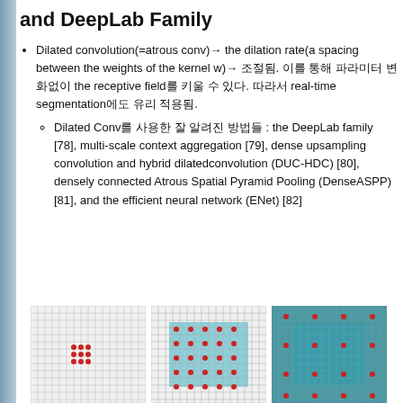and DeepLab Family
Dilated convolution(=atrous conv)→ the dilation rate(a spacing between the weights of the kernel w)→ 조절됨. 이를 통해 파라미터 변화없이 the receptive field를 키울 수 있다. 따라서 real-time segmentation에도 유리 적용됨.
Dilated Conv를 사용한 잘 알려진 방법들 : the DeepLab family [78], multi-scale context aggregation [79], dense upsampling convolution and hybrid dilatedconvolution (DUC-HDC) [80], densely connected Atrous Spatial Pyramid Pooling (DenseASPP) [81], and the efficient neural network (ENet) [82]
[Figure (illustration): Three grid diagrams showing dilated convolution with increasing dilation rates. Left: small grid with red dots in 3x3 pattern (rate=1). Middle: larger teal/cyan highlighted region with red dots spaced further apart (rate=2). Right: even larger dark teal highlighted region with red dots at wider spacing (rate=4).]